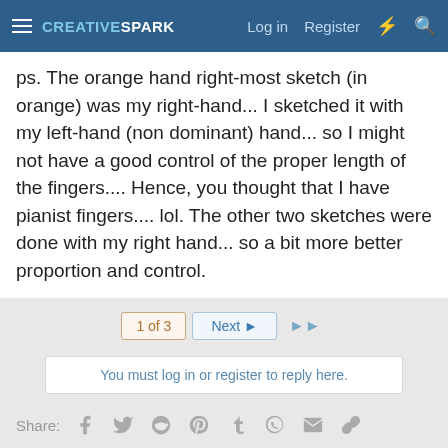CREATIVESPARK — Log in | Register
ps. The orange hand right-most sketch (in orange) was my right-hand... I sketched it with my left-hand (non dominant) hand... so I might not have a good control of the proper length of the fingers.... Hence, you thought that I have pianist fingers.... lol. The other two sketches were done with my right hand... so a bit more better proportion and control.
1 of 3  Next  ▶▶
You must log in or register to reply here.
Share:
Art From Life
Contact us  Terms and rules  Privacy policy  Help
Community platform by XenForo® © 2010-2022 XenForo Ltd.